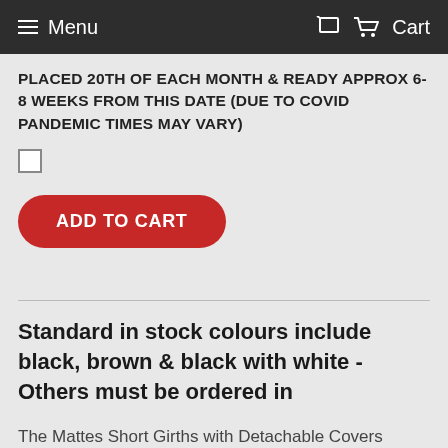Menu   Cart
PLACED 20TH OF EACH MONTH & READY APPROX 6-8 WEEKS FROM THIS DATE (DUE TO COVID PANDEMIC TIMES MAY VARY)
[checkbox]
ADD TO CART
Standard in stock colours include black, brown & black with white - Others must be ordered in
The Mattes Short Girths with Detachable Covers provides luxurious comfort for your horse! They feature four different types of shapes to cater for all